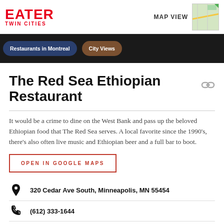EATER TWIN CITIES — MAP VIEW
[Figure (screenshot): Navigation strip with two pills: 'Restaurants in Montreal' (dark blue) and 'City Views' (brown)]
The Red Sea Ethiopian Restaurant
It would be a crime to dine on the West Bank and pass up the beloved Ethiopian food that The Red Sea serves. A local favorite since the 1990's, there's also often live music and Ethiopian beer and a full bar to boot.
OPEN IN GOOGLE MAPS
320 Cedar Ave South, Minneapolis, MN 55454
(612) 333-1644
Visit Website